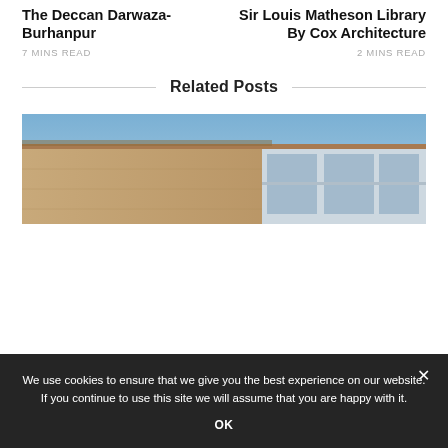The Deccan Darwaza-Burhanpur
7 MINS READ
Sir Louis Matheson Library By Cox Architecture
2 MINS READ
Related Posts
[Figure (photo): Exterior architectural photo of a building with stone or concrete facade and large windows under a blue sky]
We use cookies to ensure that we give you the best experience on our website. If you continue to use this site we will assume that you are happy with it.
OK